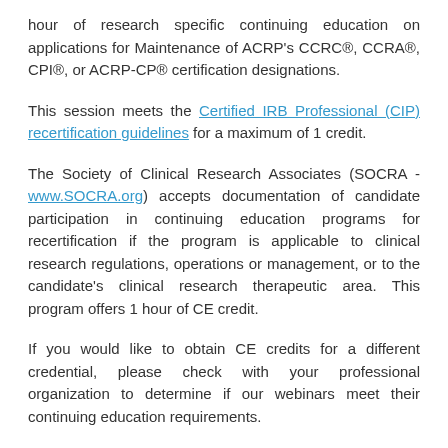hour of research specific continuing education on applications for Maintenance of ACRP’s CCRC®, CCRA®, CPI®, or ACRP-CP® certification designations.
This session meets the Certified IRB Professional (CIP) recertification guidelines for a maximum of 1 credit.
The Society of Clinical Research Associates (SOCRA - www.SOCRA.org) accepts documentation of candidate participation in continuing education programs for recertification if the program is applicable to clinical research regulations, operations or management, or to the candidate’s clinical research therapeutic area. This program offers 1 hour of CE credit.
If you would like to obtain CE credits for a different credential, please check with your professional organization to determine if our webinars meet their continuing education requirements.
Certificate of Attendance